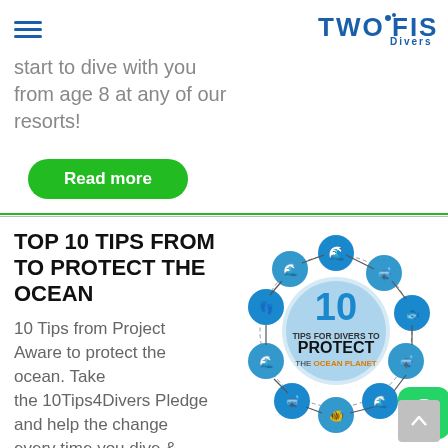TWO FISH Divers
start to dive with you from age 8 at any of our resorts!
Read more
TOP 10 TIPS FROM TO PROTECT THE OCEAN
10 Tips from Project Aware to protect the ocean. Take the 10Tips4Divers Pledge and help the change every time you dive &
[Figure (infographic): Circular infographic showing 10 Tips for Divers to Protect the Ocean Planet, with blue circular icons arranged in a ring and text in the center]